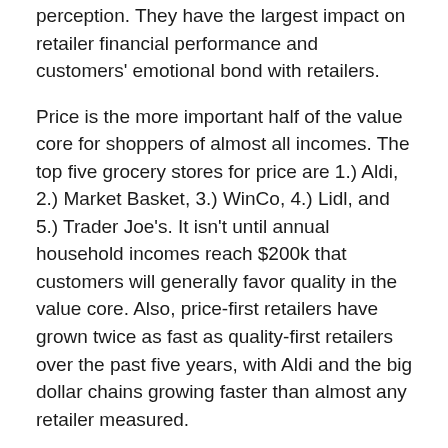perception. They have the largest impact on retailer financial performance and customers' emotional bond with retailers.
Price is the more important half of the value core for shoppers of almost all incomes. The top five grocery stores for price are 1.) Aldi, 2.) Market Basket, 3.) WinCo, 4.) Lidl, and 5.) Trader Joe's. It isn't until annual household incomes reach $200k that customers will generally favor quality in the value core. Also, price-first retailers have grown twice as fast as quality-first retailers over the past five years, with Aldi and the big dollar chains growing faster than almost any retailer measured.
Amazon Go shows that Amazon has strong brick-and-mortar grocery chops. When Amazon opens their branded chain of brick-and-mortar grocery stores